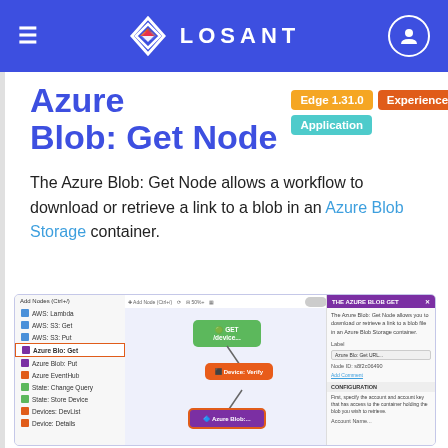LOSANT
Azure Blob: Get Node
Edge 1.31.0 | Experience | Application
The Azure Blob: Get Node allows a workflow to download or retrieve a link to a blob in an Azure Blob Storage container.
[Figure (screenshot): Screenshot of the Losant workflow editor showing the Azure Blob: Get Node selected in a workflow with GET, Device: Verify, and Azure Blob nodes visible, alongside a right panel showing node configuration details.]